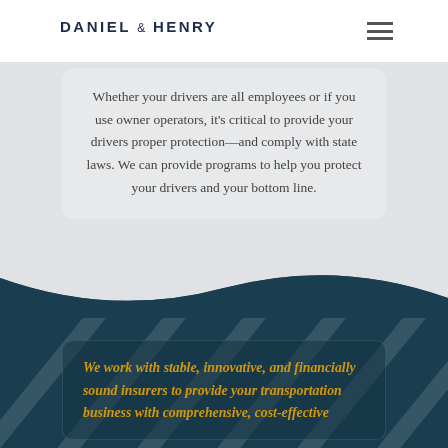DANIEL & HENRY
Whether your drivers are all employees or if you use owner operators, it's critical to provide your drivers proper protection—and comply with state laws. We can provide programs to help you protect your drivers and your bottom line.
We work with stable, innovative, and financially sound insurers to provide your transportation business with comprehensive, cost-effective